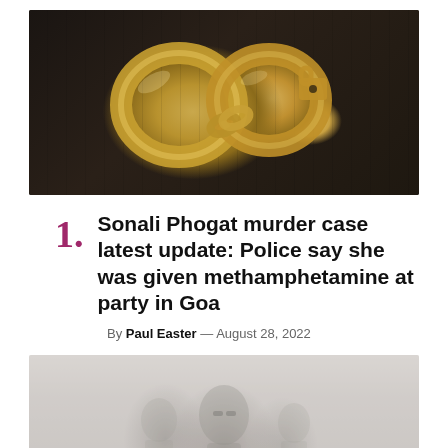[Figure (photo): Close-up photo of gold/brass handcuffs on a dark wooden surface]
Sonali Phogat murder case latest update: Police say she was given methamphetamine at party in Goa
By Paul Easter — August 28, 2022
[Figure (photo): Faded/washed-out photo of people at what appears to be a public gathering or crowd scene]